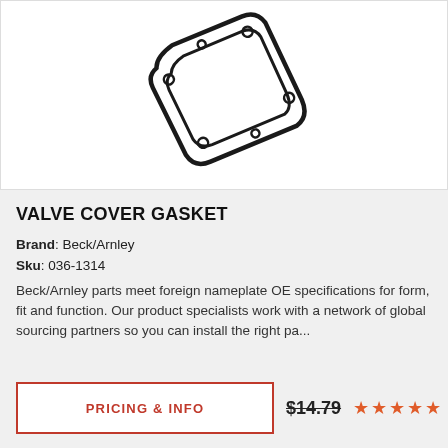[Figure (photo): Product photo of a valve cover gasket (black rubber gasket, elongated diagonal shape) on white background]
VALVE COVER GASKET
Brand: Beck/Arnley
Sku: 036-1314
Beck/Arnley parts meet foreign nameplate OE specifications for form, fit and function. Our product specialists work with a network of global sourcing partners so you can install the right pa...
PRICING & INFO
$14.79
★★★★★